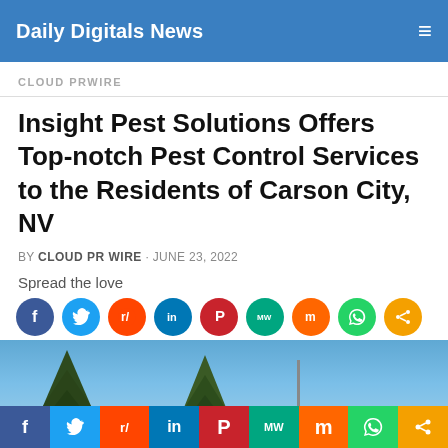Daily Digitals News
CLOUD PRWIRE
Insight Pest Solutions Offers Top-notch Pest Control Services to the Residents of Carson City, NV
BY CLOUD PR WIRE · JUNE 23, 2022
Spread the love
[Figure (infographic): Social media sharing icons: Facebook, Twitter, Reddit, LinkedIn, Pinterest, MeWe, Mix, WhatsApp, Share]
[Figure (photo): Outdoor scene with pine trees against a blue sky and a tall pole/flagpole on the right side]
[Figure (infographic): Bottom bar with social media sharing icons: Facebook, Twitter, Reddit, LinkedIn, Pinterest, MeWe, Mix, WhatsApp, Share]